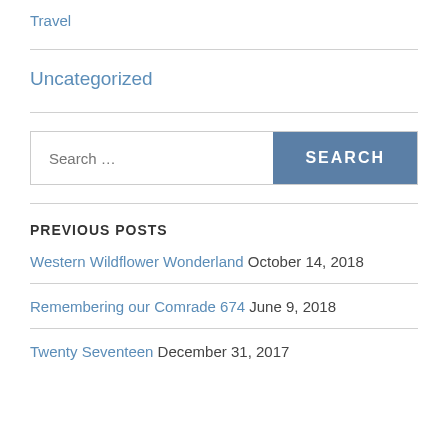Travel
Uncategorized
Search ...
PREVIOUS POSTS
Western Wildflower Wonderland October 14, 2018
Remembering our Comrade 674 June 9, 2018
Twenty Seventeen December 31, 2017